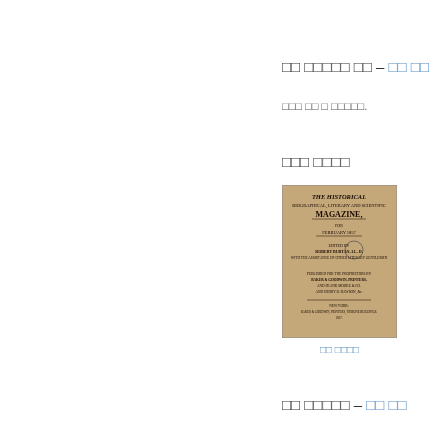□□
□□ □□□□□ □□ – □□ □□
□□□ □□ □ □□□□□.
□□□ □□□□
[Figure (photo): Cover page of The Historical Magazine, featuring title, subtitle 'Biographical, Literary and Scientific', 'Magazine', date February 1857, editor name, publisher information, and a circular stamp.]
□□ □□□□
□□ □□□□□ – □□ □□